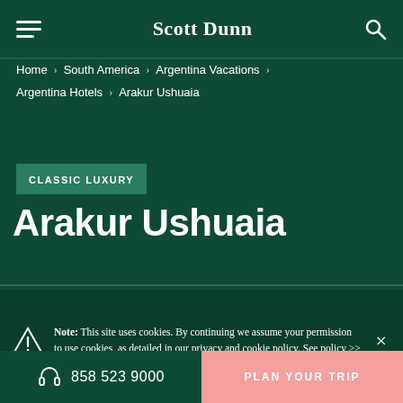Scott Dunn
Home > South America > Argentina Vacations > Argentina Hotels > Arakur Ushuaia
CLASSIC LUXURY
Arakur Ushuaia
Note: This site uses cookies. By continuing we assume your permission to use cookies, as detailed in our privacy and cookie policy. See policy >>
858 523 9000  PLAN YOUR TRIP